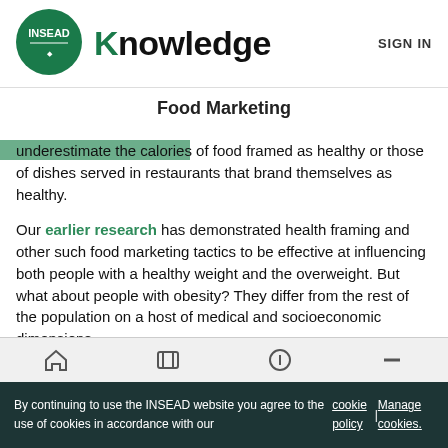[Figure (logo): INSEAD circular green logo with white text]
Knowledge   SIGN IN
Food Marketing
underestimate the calories of food framed as healthy or those of dishes served in restaurants that brand themselves as healthy.
Our earlier research has demonstrated health framing and other such food marketing tactics to be effective at influencing both people with a healthy weight and the overweight. But what about people with obesity? They differ from the rest of the population on a host of medical and socioeconomic dimensions.
Consumers with obesity are known to have the reward receptors in their brains numbed to a degree. This means that they need to eat more food to derive the same pleasure from it as other
By continuing to use the INSEAD website you agree to the use of cookies in accordance with our cookie policy | Manage cookies.